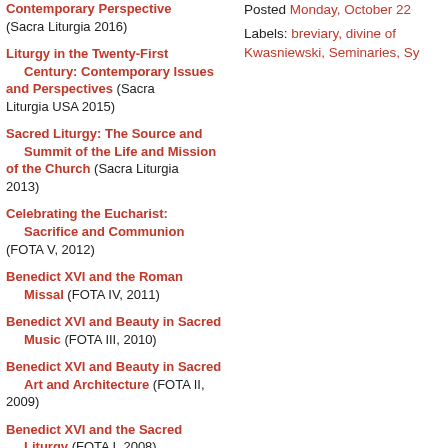Contemporary Perspective (Sacra Liturgia 2016)
Liturgy in the Twenty-First Century: Contemporary Issues and Perspectives (Sacra Liturgia USA 2015)
Sacred Liturgy: The Source and Summit of the Life and Mission of the Church (Sacra Liturgia 2013)
Celebrating the Eucharist: Sacrifice and Communion (FOTA V, 2012)
Benedict XVI and the Roman Missal (FOTA IV, 2011)
Benedict XVI and Beauty in Sacred Music (FOTA III, 2010)
Benedict XVI and Beauty in Sacred Art and Architecture (FOTA II, 2009)
Benedict XVI and the Sacred Liturgy (FOTA I, 2008)
Posted Monday, October 22
Labels: breviary, divine of Kwasniewski, Seminaries, Sy